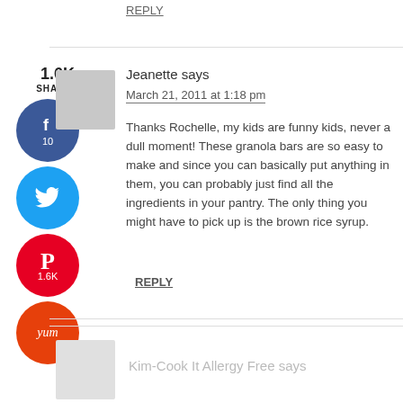REPLY
1.6K SHARES
[Figure (infographic): Social share buttons: Facebook (10), Twitter, Pinterest (1.6K), Yummly]
[Figure (photo): Generic user avatar placeholder (gray square)]
Jeanette says
March 21, 2011 at 1:18 pm
Thanks Rochelle, my kids are funny kids, never a dull moment! These granola bars are so easy to make and since you can basically put anything in them, you can probably just find all the ingredients in your pantry. The only thing you might have to pick up is the brown rice syrup.
REPLY
Kim-Cook It Allergy Free says